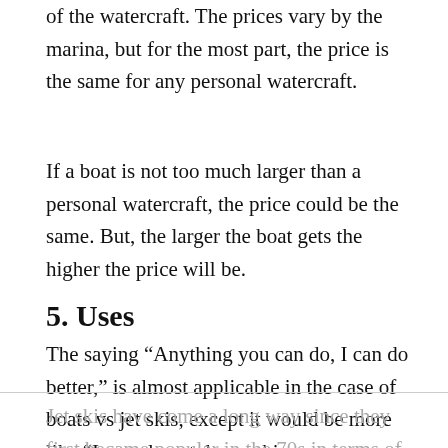of the watercraft. The prices vary by the marina, but for the most part, the price is the same for any personal watercraft.
If a boat is not too much larger than a personal watercraft, the price could be the same. But, the larger the boat gets the higher the price will be.
5. Uses
The saying “Anything you can do, I can do better,” is almost applicable in the case of boats vs jet skis, except it would be more like “I can almost do anything you can, almost as well.”
Jet skis have come a long way since they first became popular in the 70s in terms of what you can do with